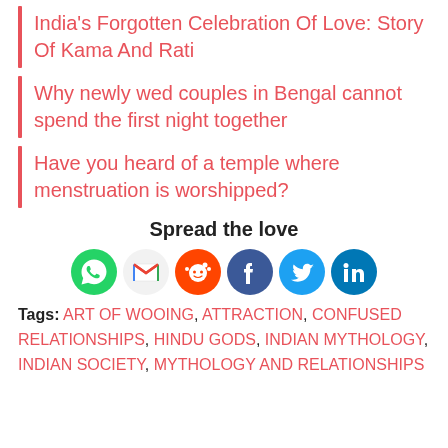India's Forgotten Celebration Of Love: Story Of Kama And Rati
Why newly wed couples in Bengal cannot spend the first night together
Have you heard of a temple where menstruation is worshipped?
Spread the love
[Figure (infographic): Social sharing icons: WhatsApp (green), Gmail (red/white), Reddit (orange), Facebook (dark blue), Twitter (light blue), LinkedIn (blue)]
Tags: ART OF WOOING, ATTRACTION, CONFUSED RELATIONSHIPS, HINDU GODS, INDIAN MYTHOLOGY, INDIAN SOCIETY, MYTHOLOGY AND RELATIONSHIPS